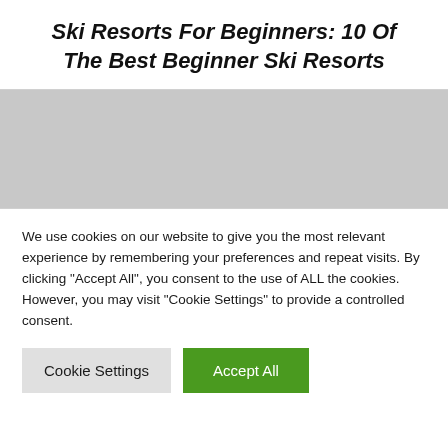Ski Resorts For Beginners: 10 Of The Best Beginner Ski Resorts
We use cookies on our website to give you the most relevant experience by remembering your preferences and repeat visits. By clicking "Accept All", you consent to the use of ALL the cookies. However, you may visit "Cookie Settings" to provide a controlled consent.